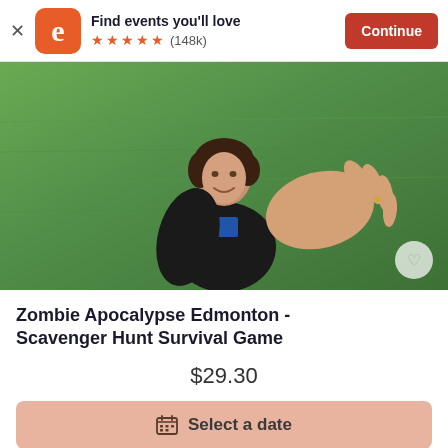Find events you'll love ★★★★★ (148k) Continue
[Figure (photo): Woman in black jacket reaching her hand toward camera, standing on green grass lawn, smiling]
Zombie Apocalypse Edmonton - Scavenger Hunt Survival Game
$29.30
Select a date